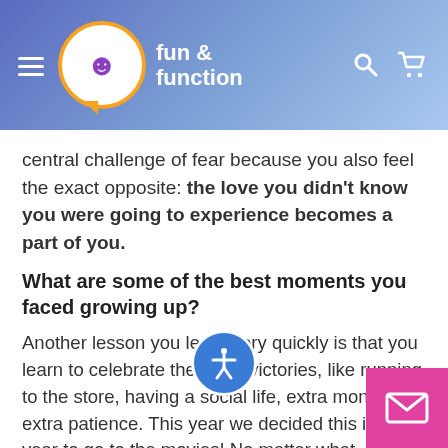fun & function
central challenge of fear because you also feel the exact opposite: the love you didn't know you were going to experience becomes a part of you.
What are some of the best moments you faced growing up?
Another lesson you learn very quickly is that you learn to celebrate the small victories, like running to the store, having a social life, extra money, extra patience. This year we decided this is the year to go to the movies! No matter what, I showed up in a different car to meet everyone at the theater. Immediately when he saw me, he know he must be going